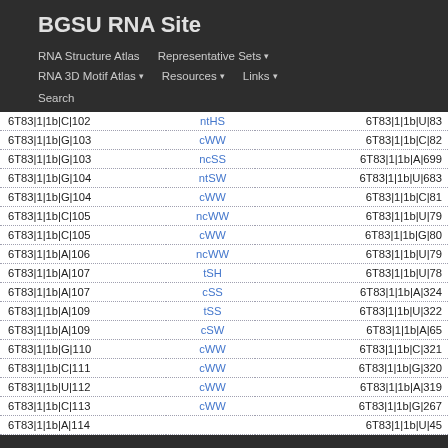BGSU RNA Site
RNA Structure Atlas | Representative Sets ▾
RNA 3D Motif Atlas ▾ | Resources ▾ | Links ▾
Search
|  |  |  |
| --- | --- | --- |
| 6T83|1|1b|C|102 | ntHS | 6T83|1|1b|U|83 |
| 6T83|1|1b|G|103 | cWW | 6T83|1|1b|C|82 |
| 6T83|1|1b|G|103 | ncSS | 6T83|1|1b|A|699 |
| 6T83|1|1b|G|104 | ntSW | 6T83|1|1b|U|683 |
| 6T83|1|1b|G|104 | cWW | 6T83|1|1b|C|81 |
| 6T83|1|1b|C|105 | ncWW | 6T83|1|1b|U|79 |
| 6T83|1|1b|C|105 | cWW | 6T83|1|1b|G|80 |
| 6T83|1|1b|A|106 | ncWW | 6T83|1|1b|U|79 |
| 6T83|1|1b|A|107 | tSH | 6T83|1|1b|U|78 |
| 6T83|1|1b|A|107 | cSS | 6T83|1|1b|A|324 |
| 6T83|1|1b|A|109 | tSS | 6T83|1|1b|U|322 |
| 6T83|1|1b|A|109 | cSW | 6T83|1|1b|A|65 |
| 6T83|1|1b|G|110 | cWW | 6T83|1|1b|C|321 |
| 6T83|1|1b|C|111 | cWW | 6T83|1|1b|G|320 |
| 6T83|1|1b|U|112 | cWW | 6T83|1|1b|A|319 |
| 6T83|1|1b|C|113 | cWW | 6T83|1|1b|G|267 |
| 6T83|1|1b|A|114 | ... | 6T83|1|1b|U|45 |